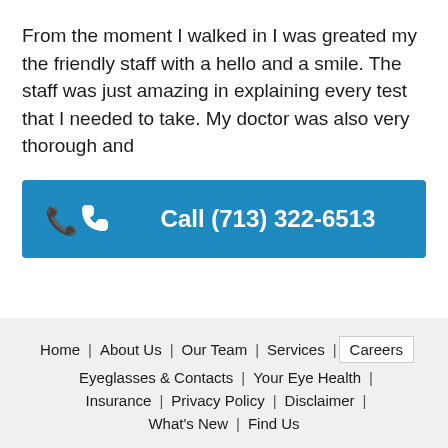From the moment I walked in I was greated my the friendly staff with a hello and a smile. The staff was just amazing in explaining every test that I needed to take. My doctor was also very thorough and
[Figure (other): Blue call-to-action button with phone icon and text 'Call (713) 322-6513']
Home | About Us | Our Team | Services | Careers | Eyeglasses & Contacts | Your Eye Health | Insurance | Privacy Policy | Disclaimer | What's New | Find Us